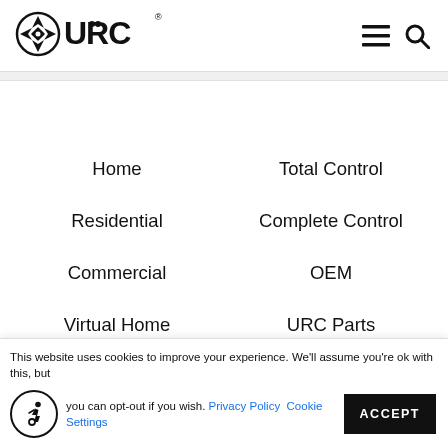[Figure (logo): URC logo with compass/star icon and bold URC text with registered trademark symbol]
Home
Total Control
Residential
Complete Control
Commercial
OEM
Virtual Home
URC Parts
This website uses cookies to improve your experience. We'll assume you're ok with this, but you can opt-out if you wish. Privacy Policy  Cookie Settings  ACCEPT